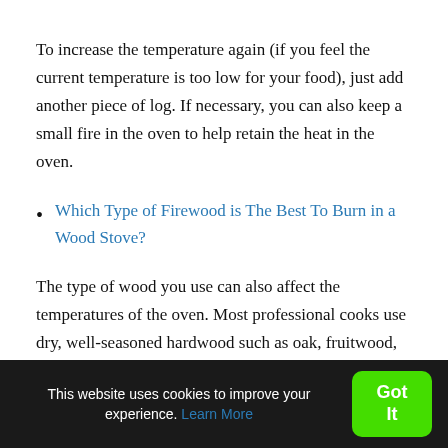To increase the temperature again (if you feel the current temperature is too low for your food), just add another piece of log. If necessary, you can also keep a small fire in the oven to help retain the heat in the oven.
Which Type of Firewood is The Best To Burn in a Wood Stove?
The type of wood you use can also affect the temperatures of the oven. Most professional cooks use dry, well-seasoned hardwood such as oak, fruitwood, pecan, olive, avocado, walnut or almond. Don't use charcoal or resinous woods such as pine or spruce, as they can affect the taste of your dishes.
This website uses cookies to improve your experience. Learn More  Got It